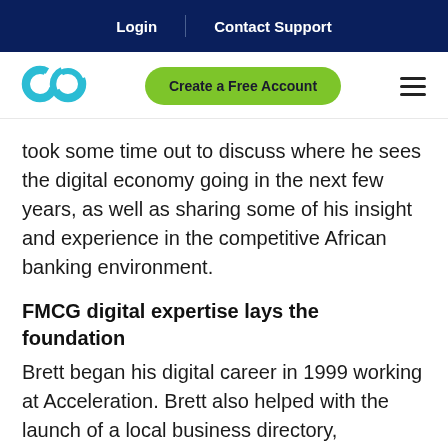Login | Contact Support
[Figure (logo): Linked Finance double-loop cyan logo mark]
Create a Free Account
took some time out to discuss where he sees the digital economy going in the next few years, as well as sharing some of his insight and experience in the competitive African banking environment.
FMCG digital expertise lays the foundation
Brett began his digital career in 1999 working at Acceleration. Brett also helped with the launch of a local business directory, Search24, and then moved on to the Shoprite Group of companies, where he headed up both the digital team and the consumer